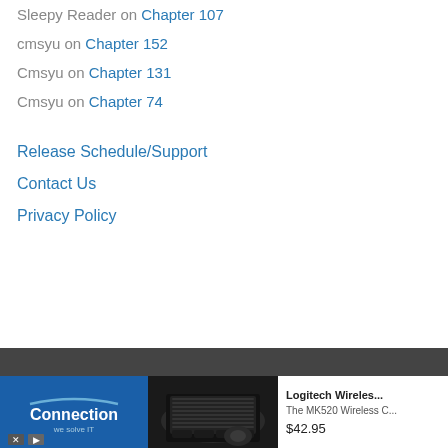Sleepy Reader on Chapter 107
cmsyu on Chapter 152
Cmsyu on Chapter 131
Cmsyu on Chapter 74
Release Schedule/Support
Contact Us
Privacy Policy
[Figure (screenshot): Advertisement banner for Connection showing Logitech Wireless MK520 keyboard and mouse combo for $42.95]